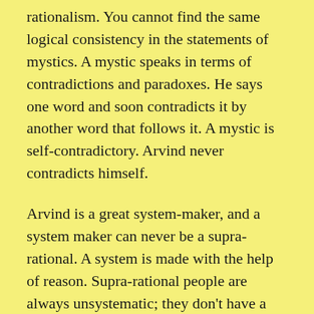rationalism. You cannot find the same logical consistency in the statements of mystics. A mystic speaks in terms of contradictions and paradoxes. He says one word and soon contradicts it by another word that follows it. A mystic is self-contradictory. Arvind never contradicts himself.
Arvind is a great system-maker, and a system maker can never be a supra-rational. A system is made with the help of reason. Supra-rational people are always unsystematic; they don't have a system. System is integral to logic; that which is illogical cannot follow a methodology or order.
These, this boldness, are not the greatest…All